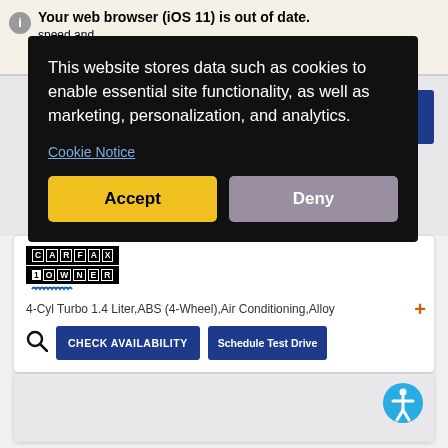Your web browser (iOS 11) is out of date. speed and e.
[Figure (screenshot): Cookie consent overlay on a car dealership website. Black overlay with white text reading 'This website stores data such as cookies to enable essential site functionality, as well as marketing, personalization, and analytics.' with a 'Cookie Notice' link and Accept/Deny buttons. Behind the overlay is a car listing page with CARFAX 1-Owner badge, car features text, CHECK AVAILABILITY and Schedule Test Drive buttons.]
This website stores data such as cookies to enable essential site functionality, as well as marketing, personalization, and analytics.
Cookie Notice
Accept
Deny
4-Cyl Turbo 1.4 Liter,ABS (4-Wheel),Air Conditioning,Alloy
CHECK AVAILABILITY
Schedule Test Drive